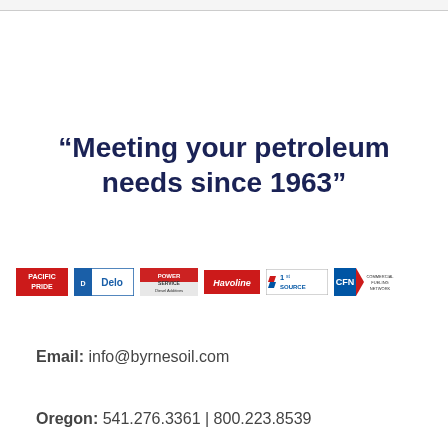“Meeting your petroleum needs since 1963”
[Figure (logo): Row of brand logos: Pacific Pride, Delo, Power Service Diesel Additives, Havoline, Chevron 1st Source, CFN]
Email:  info@byrnesoil.com
Oregon: 541.276.3361 | 800.223.8539